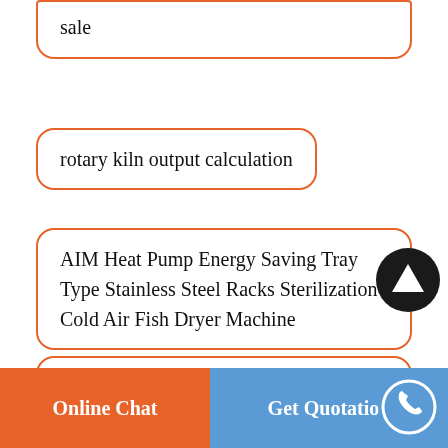… rotary kiln and small ceramic pendulum roller for sale
rotary kiln output calculation
AIM Heat Pump Energy Saving Tray Type Stainless Steel Racks Sterilization Cold Air Fish Dryer Machine
Robertsport tangible benefits medium gypsum rotary kiln for sale
Online Chat   Get Quotation